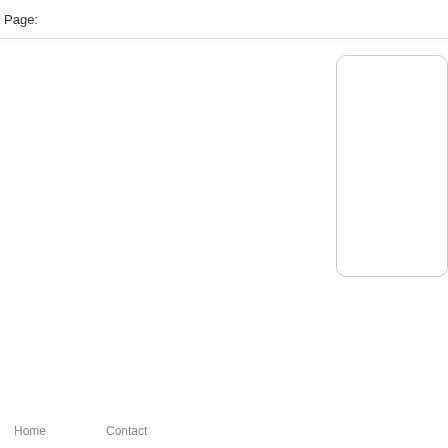Page:
[Figure (other): Rounded rectangle box partially visible at top right of content area]
Home    Contact